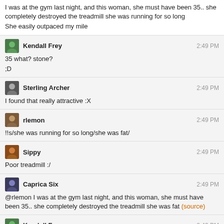I was at the gym last night, and this woman, she must have been 35.. she completely destroyed the treadmill she was running for so long
She easily outpaced my mile
Kendall Frey 2:49 PM
35 what? stone?
;D
Sterling Archer 2:49 PM
I found that really attractive :X
rlemon 2:49 PM
!!s/she was running for so long/she was fat/
Sippy 2:49 PM
Poor treadmill :/
Caprica Six 2:49 PM
@rlemon I was at the gym last night, and this woman, she must have been 35.. she completely destroyed the treadmill she was fat (source)
Kendall Frey 2:49 PM
nobody in the US even knows what a stone is
user1596138 2:49 PM
@KendallFrey it's a rock.
Kendall Frey 2:49 PM